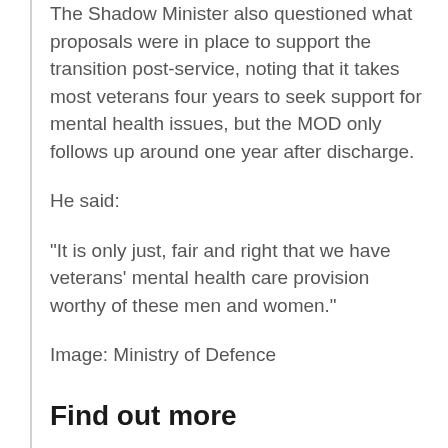The Shadow Minister also questioned what proposals were in place to support the transition post-service, noting that it takes most veterans four years to seek support for mental health issues, but the MOD only follows up around one year after discharge.
He said:
"It is only just, fair and right that we have veterans' mental health care provision worthy of these men and women."
Image: Ministry of Defence
Find out more
Watch Parliament TV: Statement on Veteran's